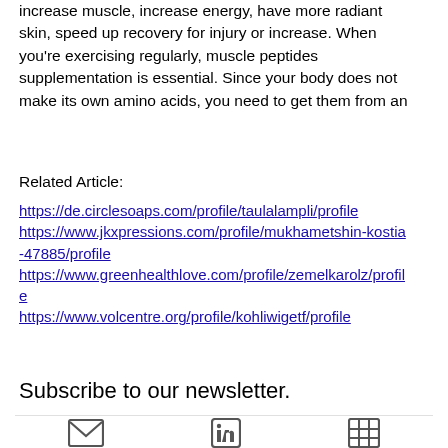increase muscle, increase energy, have more radiant skin, speed up recovery for injury or increase. When you're exercising regularly, muscle peptides supplementation is essential. Since your body does not make its own amino acids, you need to get them from an
Related Article:
https://de.circlesoaps.com/profile/taulalampli/profile
https://www.jkxpressions.com/profile/mukhametshin-kostia-47885/profile
https://www.greenhealthlove.com/profile/zemelkarolz/profile
https://www.volcentre.org/profile/kohliwigetf/profile
Subscribe to our newsletter.
[Figure (other): Footer bar with email icon, LinkedIn icon, and grid/table icon]